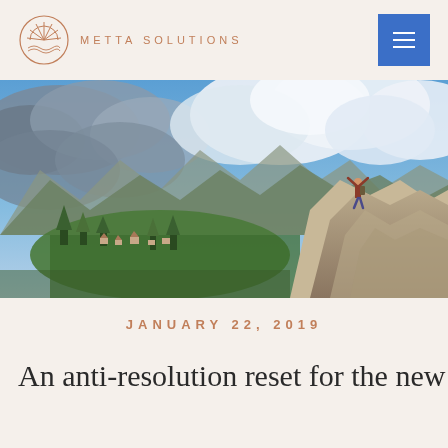METTA SOLUTIONS
[Figure (photo): Person standing on a rocky mountain peak with arms raised, against a dramatic cloudy sky. Mountain valley with green trees and a small town visible in the background.]
JANUARY 22, 2019
An anti-resolution reset for the new